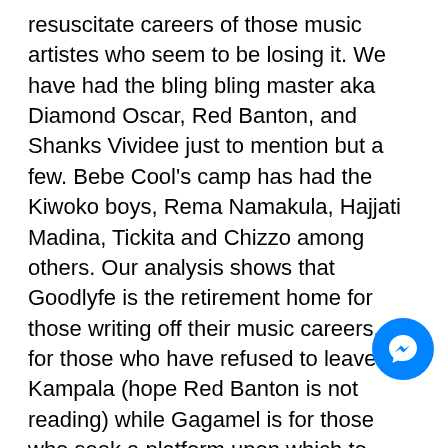resuscitate careers of those music artistes who seem to be losing it. We have had the bling bling master aka Diamond Oscar, Red Banton, and Shanks Vividee just to mention but a few. Bebe Cool's camp has had the Kiwoko boys, Rema Namakula, Hajjati Madina, Tickita and Chizzo among others. Our analysis shows that Goodlyfe is the retirement home for those writing off their music careers, or for those who have refused to leave Kampala (hope Red Banton is not reading) while Gagamel is for those who seek a platform upon which to begin a music career and make it big.
Are two heads are better than one?
Bebe Cool believes he will use the experience he has to beat these two boys. However, Radio insists that Bebe is too old and sometimes one stops thinking when th too old. They promise to make him pee in his pan These are all words and facts that were exchanged between the two camps during their press conferences